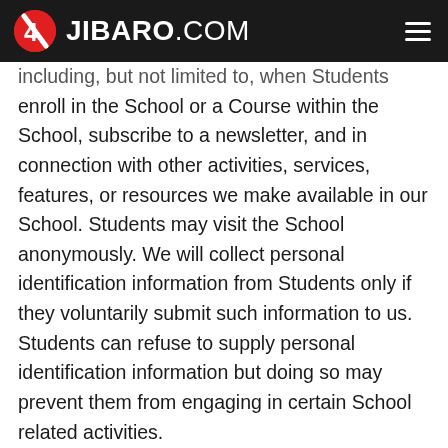4JIBARO.COM
including, but not limited to, when Students enroll in the School or a Course within the School, subscribe to a newsletter, and in connection with other activities, services, features, or resources we make available in our School. Students may visit the School anonymously. We will collect personal identification information from Students only if they voluntarily submit such information to us. Students can refuse to supply personal identification information but doing so may prevent them from engaging in certain School related activities.